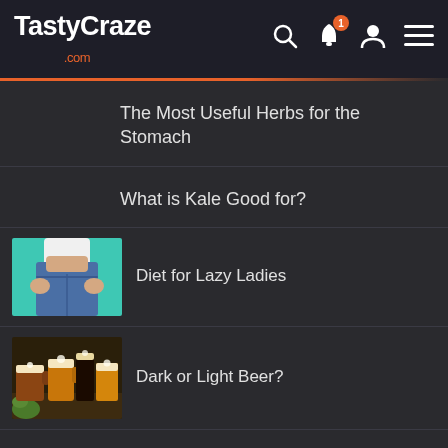TastyCraze .com
The Most Useful Herbs for the Stomach
What is Kale Good for?
[Figure (photo): Person in jeans showing slim waist against teal background]
Diet for Lazy Ladies
[Figure (photo): Assorted beer mugs and glasses filled with dark and light beer]
Dark or Light Beer?